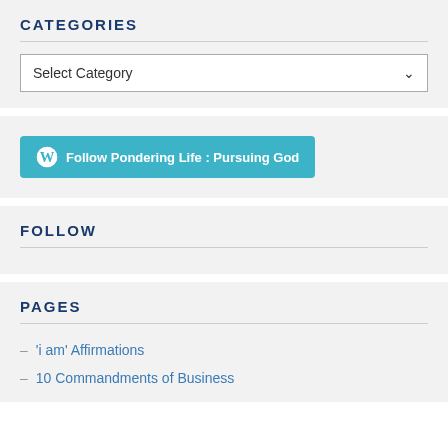CATEGORIES
[Figure (screenshot): Dropdown select box labeled 'Select Category' with a chevron arrow on the right]
[Figure (screenshot): Teal/cyan button with WordPress logo icon and text 'Follow Pondering Life : Pursuing God']
FOLLOW
PAGES
'i am' Affirmations
10 Commandments of Business